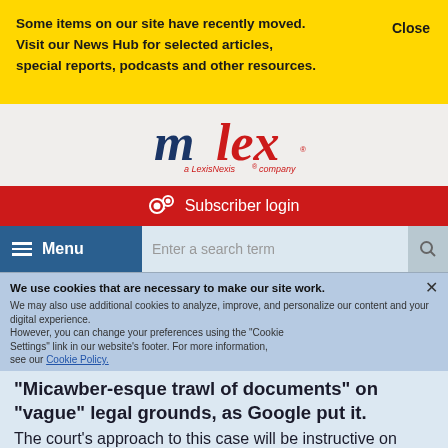Some items on our site have recently moved. Visit our News Hub for selected articles, special reports, podcasts and other resources.
Close
[Figure (logo): mlex a LexisNexis company logo]
Subscriber login
Menu
Enter a search term
We use cookies that are necessary to make our site work.
We may also use additional cookies to analyze, improve, and personalize our content and your digital experience. However, you can change your preferences using the "Cookie Settings" link in our website's footer. For more information, see our Cookie Policy.
Manage Cookie Settings
"Micawber-esque trawl of documents" on "vague" legal grounds, as Google put it.
The court's approach to this case will be instructive on factors to consider around disclosure, such as what information should be shared; between whom and in what circumstances; and how proportionate the demands are. The Google-Foundem lawsuit should be fertile learning